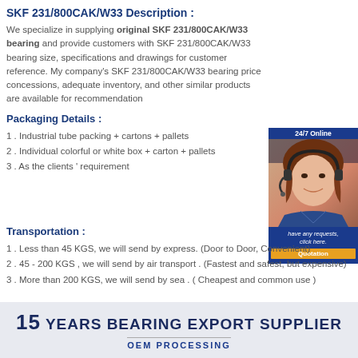SKF 231/800CAK/W33 Description :
We specialize in supplying original SKF 231/800CAK/W33 bearing and provide customers with SKF 231/800CAK/W33 bearing size, specifications and drawings for customer reference. My company's SKF 231/800CAK/W33 bearing price concessions, adequate inventory, and other similar products are available for recommendation
Packaging Details :
1 . Industrial tube packing + cartons + pallets
2 . Individual colorful or white box + carton + pallets
3 . As the clients ' requirement
[Figure (photo): Customer service representative with headset, 24/7 Online badge, with quotation button]
Transportation :
1 . Less than 45 KGS, we will send by express. (Door to Door, Convenient)
2 . 45 - 200 KGS , we will send by air transport . (Fastest and safest, but expensive)
3 . More than 200 KGS, we will send by sea . ( Cheapest and common use )
[Figure (infographic): 15 Years Bearing Export Supplier banner with OEM Processing text]